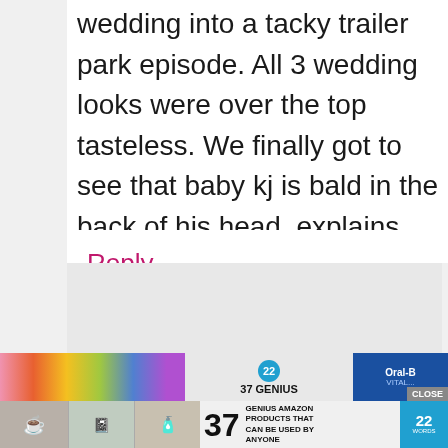wedding into a tacky trailer park episode. All 3 wedding looks were over the top tasteless. We finally got to see that baby kj is bald in the back of his head, explains the hats in every scene. Lost respect for Kroy, both he and Kim know her mothers history of drama so her behavior didn't require a barrage of security and removing her from the festivities. Giving the girls symbolic rings was creepy. Kim's mother Has been the most entertaining part of the whole series!
Reply
[Figure (screenshot): Advertisement banner showing scrunchies/hair accessories and text '22' and '37 GENIUS' with Oral-B branding and CLOSE button]
[Figure (screenshot): Advertisement banner showing household items (mugs, notebook, accessories) with text '37 GENIUS AMAZON PRODUCTS THAT CAN BE USED BY ANYONE' and '22 WORDS' badge]